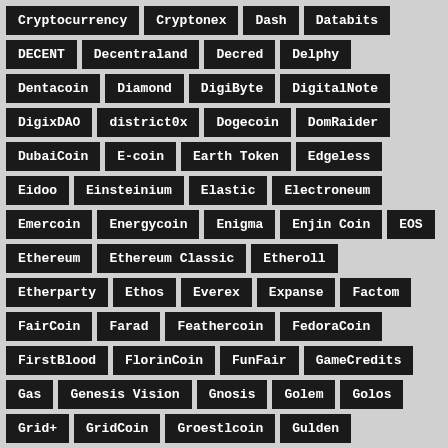Cryptocurrency
Cryptonex
Dash
Databits
DECENT
Decentraland
Decred
Delphy
Dentacoin
Diamond
DigiByte
DigitalNote
DigixDAO
district0x
Dogecoin
DomRaider
DubaiCoin
E-coin
Earth Token
Edgeless
Eidoo
Einsteinium
Elastic
Electroneum
Emercoin
Energycoin
Enigma
Enjin Coin
EOS
Ethereum
Ethereum Classic
Etheroll
Etherparty
Ethos
Everex
Expanse
Factom
FairCoin
Farad
Feathercoin
FedoraCoin
FirstBlood
FlorinCoin
FunFair
GameCredits
Gas
Genesis Vision
Gnosis
Golem
Golos
Grid+
GridCoin
Groestlcoin
Gulden
GXShares
Hive
Horizon State
Hshare
Humaniq
I/O Coin
Iconomi
ICOS
iExec RLC
InvestFeed
ION
IOTA
Jinn
Kin
Komodo